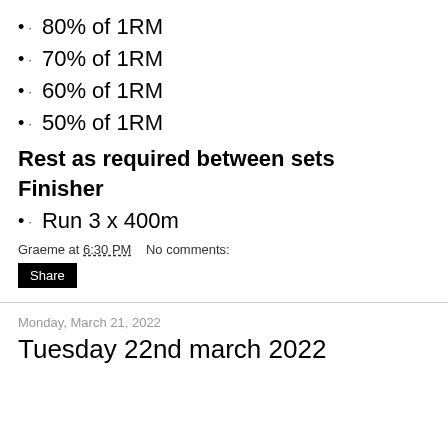80% of 1RM
70% of 1RM
60% of 1RM
50% of 1RM
Rest as required between sets
Finisher
Run 3 x 400m
Graeme at 6:30 PM    No comments:
Share
Monday, March 21, 2022
Tuesday 22nd march 2022